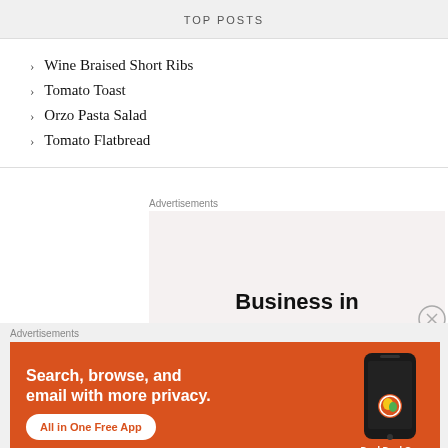TOP POSTS
Wine Braised Short Ribs
Tomato Toast
Orzo Pasta Salad
Tomato Flatbread
Advertisements
[Figure (other): Advertisement box showing partial text 'Business in' on a light pinkish-grey background]
Advertisements
[Figure (other): DuckDuckGo advertisement banner on orange/red background. Text: 'Search, browse, and email with more privacy. All in One Free App' with DuckDuckGo logo and phone graphic.]